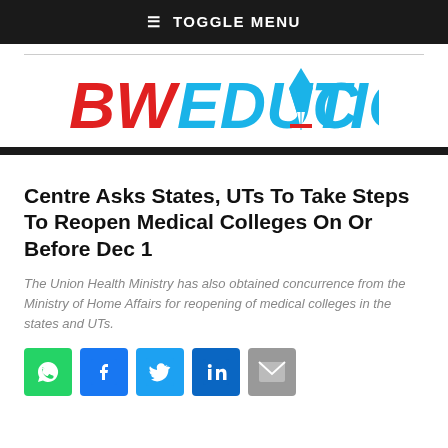≡ TOGGLE MENU
[Figure (logo): BW Education logo with red 'BW' and blue 'EDUCATION' text, pen-nib icon replacing the 'A' in EDUCATION]
Centre Asks States, UTs To Take Steps To Reopen Medical Colleges On Or Before Dec 1
The Union Health Ministry has also obtained concurrence from the Ministry of Home Affairs for reopening of medical colleges in the states and UTs.
[Figure (infographic): Row of social media share icons: WhatsApp (green), Facebook (blue), Twitter (light blue), LinkedIn (dark blue), Email (grey)]